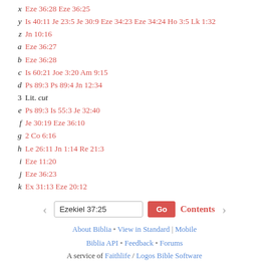x  Eze 36:28 Eze 36:25
y  Is 40:11 Je 23:5 Je 30:9 Eze 34:23 Eze 34:24 Ho 3:5 Lk 1:32
z  Jn 10:16
a  Eze 36:27
b  Eze 36:28
c  Is 60:21 Joe 3:20 Am 9:15
d  Ps 89:3 Ps 89:4 Jn 12:34
3  Lit. cut
e  Ps 89:3 Is 55:3 Je 32:40
f  Je 30:19 Eze 36:10
g  2 Co 6:16
h  Le 26:11 Jn 1:14 Re 21:3
i  Eze 11:20
j  Eze 36:23
k  Ex 31:13 Eze 20:12
Ezekiel 37:25  Go  Contents
About Biblia • View in Standard | Mobile
Biblia API • Feedback • Forums
A service of Faithlife / Logos Bible Software